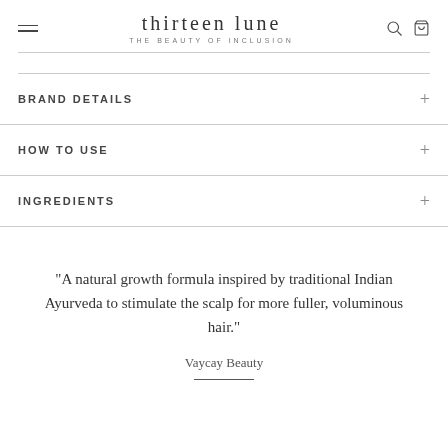thirteen lune — THE BEAUTY OF INCLUSION
BRAND DETAILS
HOW TO USE
INGREDIENTS
"A natural growth formula inspired by traditional Indian Ayurveda to stimulate the scalp for more fuller, voluminous hair."
Vaycay Beauty